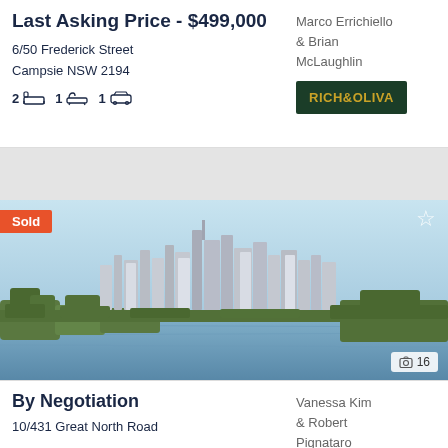Last Asking Price - $499,000
6/50 Frederick Street
Campsie NSW 2194
2 bed  1 bath  1 car
Marco Errichiello & Brian McLaughlin
[Figure (logo): RICH&OLIVA agency logo, dark green background with gold text]
[Figure (photo): City skyline across a lake or river, with a Sold badge overlay and star icon, showing 16 photos]
By Negotiation
10/431 Great North Road
Vanessa Kim & Robert Pignataro